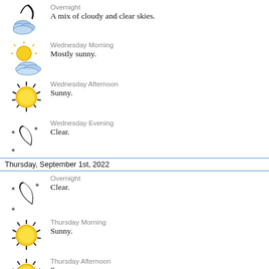Overnight — A mix of cloudy and clear skies.
Wednesday Morning — Mostly sunny.
Wednesday Afternoon — Sunny.
Wednesday Evening — Clear.
Thursday, September 1st, 2022
Overnight — Clear.
Thursday Morning — Sunny.
Thursday Afternoon — Sunny.
Thursday Evening — Clear.
Friday, September 2nd, 2022
Overnight